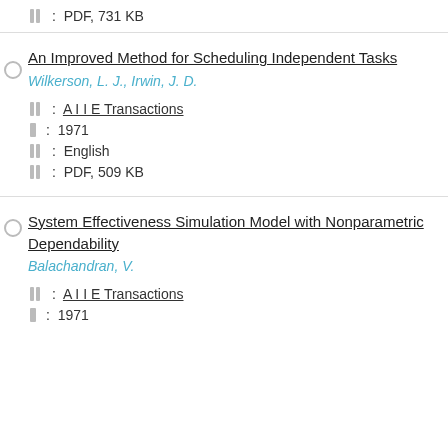PDF, 731 KB
An Improved Method for Scheduling Independent Tasks
Wilkerson, L. J., Irwin, J. D.
A I I E Transactions
1971
English
PDF, 509 KB
System Effectiveness Simulation Model with Nonparametric Dependability
Balachandran, V.
A I I E Transactions
1971